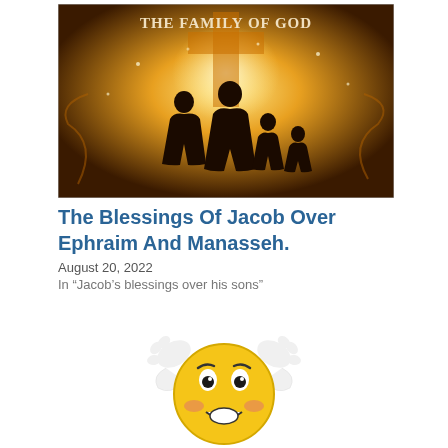[Figure (illustration): An illustration of a family silhouette (two adults and two children) standing before a large glowing cross, with the text 'THE FAMILY OF GOD' at the top. Warm golden/amber tones with light rays.]
The Blessings Of Jacob Over Ephraim And Manasseh.
August 20, 2022
In “Jacob’s blessings over his sons”
[Figure (illustration): A cartoon shocked/surprised emoji face (yellow circle) with wide eyes, raised eyebrows, open mouth, and two hands raised to the sides of the head with a flushed expression.]